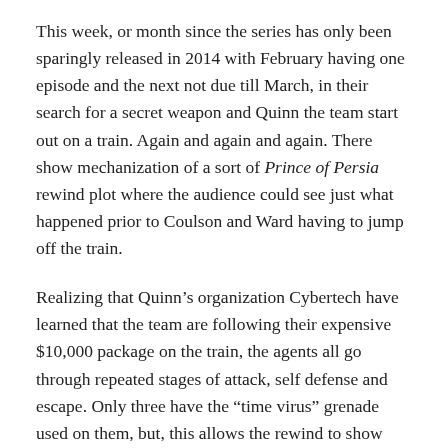This week, or month since the series has only been sparingly released in 2014 with February having one episode and the next not due till March, in their search for a secret weapon and Quinn the team start out on a train. Again and again and again. There show mechanization of a sort of Prince of Persia rewind plot where the audience could see just what happened prior to Coulson and Ward having to jump off the train.
Realizing that Quinn’s organization Cybertech have learned that the team are following their expensive $10,000 package on the train, the agents all go through repeated stages of attack, self defense and escape. Only three have the “time virus” grenade used on them, but, this allows the rewind to show how each of the team fared during the train attack. After a series of “repeats” that overlap each other all of the action on the train is revealed, albeit, very slowly.
While Ward and Coulson talk about the May situation, the deadly lady in question shows up, kills a traitor and the three